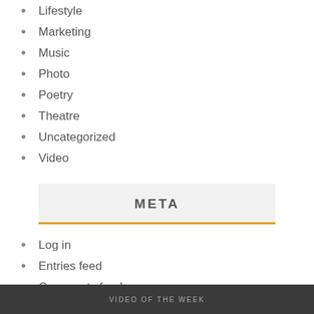Lifestyle
Marketing
Music
Photo
Poetry
Theatre
Uncategorized
Video
META
Log in
Entries feed
Comments feed
WordPress.org
VIDEO OF THE WEEK